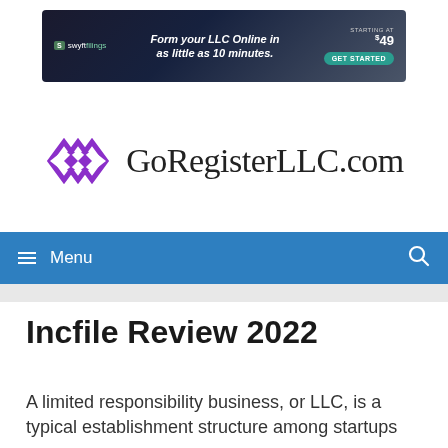[Figure (infographic): Swyft Filings advertisement banner: 'Form your LLC Online in as little as 10 minutes. Starting at $49. Get Started.']
[Figure (logo): GoRegisterLLC.com logo with purple diamond/infinity geometric icon and serif text]
Menu
Incfile Review 2022
A limited responsibility business, or LLC, is a typical establishment structure among startups